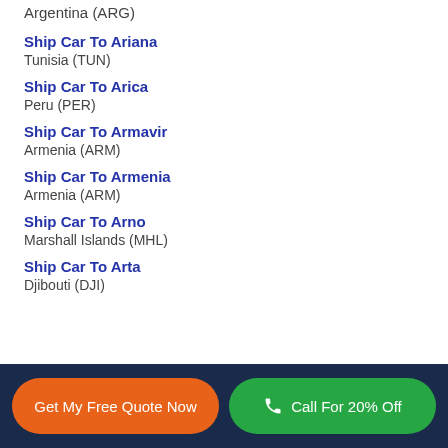Argentina (ARG)
Ship Car To Ariana
Tunisia (TUN)
Ship Car To Arica
Peru (PER)
Ship Car To Armavir
Armenia (ARM)
Ship Car To Armenia
Armenia (ARM)
Ship Car To Arno
Marshall Islands (MHL)
Ship Car To Arta
Djibouti (DJI)
Get My Free Quote Now | Call For 20% Off